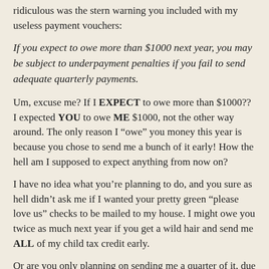ridiculous was the stern warning you included with my useless payment vouchers:
If you expect to owe more than $1000 next year, you may be subject to underpayment penalties if you fail to send adequate quarterly payments.
Um, excuse me? If I EXPECT to owe more than $1000?? I expected YOU to owe ME $1000, not the other way around. The only reason I “owe” you money this year is because you chose to send me a bunch of it early! How the hell am I supposed to expect anything from now on?
I have no idea what you’re planning to do, and you sure as hell didn’t ask me if I wanted your pretty green “please love us” checks to be mailed to my house. I might owe you twice as much next year if you get a wild hair and send me ALL of my child tax credit early.
Or are you only planning on sending me a quarter of it, due to budget cuts? Or maybe the whole early child tax credit thing is too passé and you’re planning to attempt to endear yourselves to me some other way?